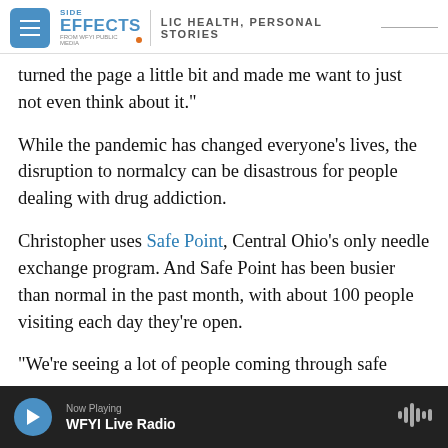SIDE EFFECTS — PUBLIC HEALTH, PERSONAL STORIES — FROM WFYI PUBLIC MEDIA
turned the page a little bit and made me want to just not even think about it."
While the pandemic has changed everyone's lives, the disruption to normalcy can be disastrous for people dealing with drug addiction.
Christopher uses Safe Point, Central Ohio's only needle exchange program. And Safe Point has been busier than normal in the past month, with about 100 people visiting each day they're open.
"We're seeing a lot of people coming through safe
Now Playing — WFYI Live Radio